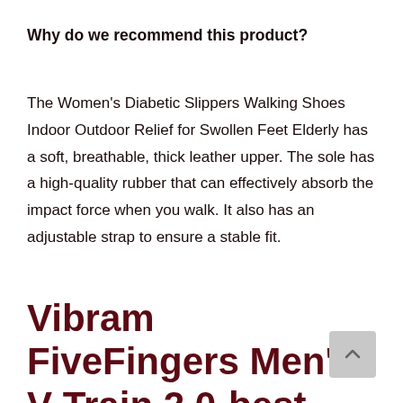Why do we recommend this product?
The Women's Diabetic Slippers Walking Shoes Indoor Outdoor Relief for Swollen Feet Elderly has a soft, breathable, thick leather upper. The sole has a high-quality rubber that can effectively absorb the impact force when you walk. It also has an adjustable strap to ensure a stable fit.
Vibram FiveFingers Men's V-Train 2.0-best